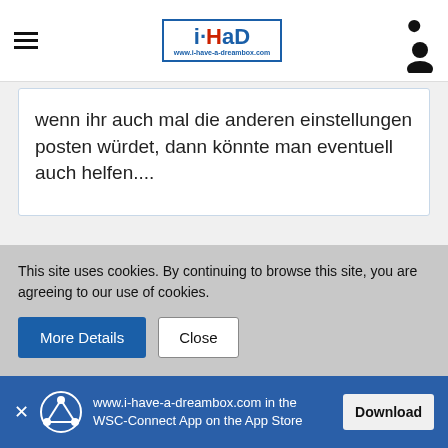i-had logo, hamburger menu, user icon
wenn ihr auch mal die anderen einstellungen posten würdet, dann könnte man eventuell auch helfen....
Slayer_ch
User
Jan 12th 2014
This site uses cookies. By continuing to browse this site, you are agreeing to our use of cookies.
More Details  Close
www.i-have-a-dreambox.com in the WSC-Connect App on the App Store  Download